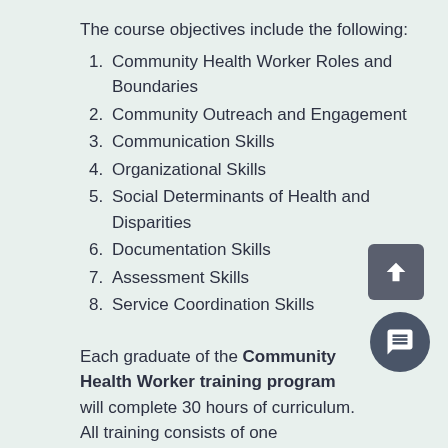The course objectives include the following:
Community Health Worker Roles and Boundaries
Community Outreach and Engagement
Communication Skills
Organizational Skills
Social Determinants of Health and Disparities
Documentation Skills
Assessment Skills
Service Coordination Skills
Each graduate of the Community Health Worker training program will complete 30 hours of curriculum. All training consists of one mandatory webinar and 10 weeks of online learning, the training ends with an in-person half of day session where learners will present a case study and receive their certificate of